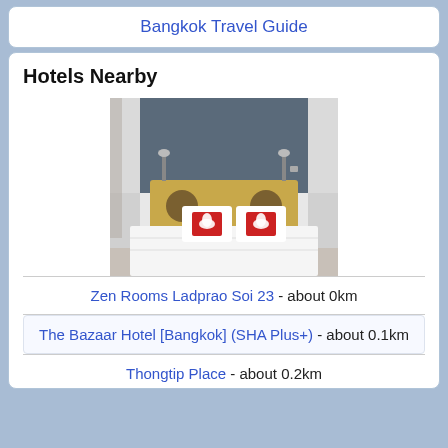Bangkok Travel Guide
Hotels Nearby
[Figure (photo): Hotel room with a double bed, white bedding, wooden headboard with circular speaker cutouts, two red square pillows with white lotus/flower logo, gray accent wall, two wall-mounted lamps.]
Zen Rooms Ladprao Soi 23 - about 0km
The Bazaar Hotel [Bangkok] (SHA Plus+) - about 0.1km
Thongtip Place - about 0.2km